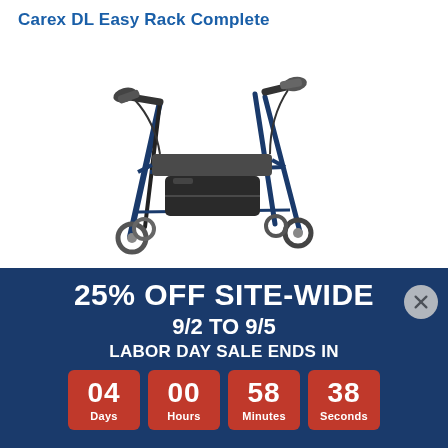Carex DL Easy Rack Complete
[Figure (photo): A blue rollator walker with hand brakes, padded seat, storage bag underneath, and four wheels, shown at an angle on a white background.]
25% OFF SITE-WIDE
9/2 TO 9/5
LABOR DAY SALE ENDS IN
04 Days  00 Hours  58 Minutes  38 Seconds